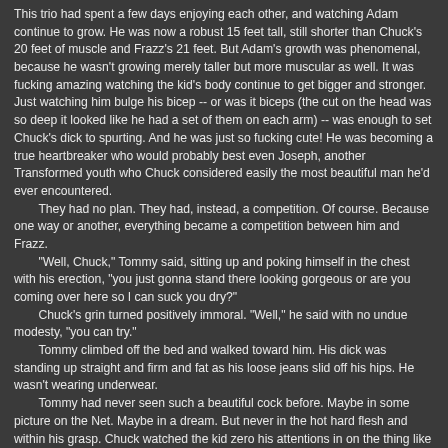This trio had spent a few days enjoying each other, and watching Adam continue to grow. He was now a robust 15 feet tall, still shorter than Chuck's 20 feet of muscle and Frazz's 21 feet. But Adam's growth was phenomenal, because he wasn't growing merely taller but more muscular as well. It was fucking amazing watching the kid's body continue to get bigger and stronger. Just watching him bulge his bicep -- or was it biceps (the cut on the head was so deep it looked like he had a set of them on each arm) -- was enough to set Chuck's dick to spurting. And he was just so fucking cute! He was becoming a true heartbreaker who would probably best even Joseph, another Transformed youth who Chuck considered easily the most beautiful man he'd ever encountered.
They had no plan. They had, instead, a competition. Of course. Because one way or another, everything became a competition between him and Frazz.
"Well, Chuck," Tommy said, sitting up and poking himself in the chest with his erection, "you just gonna stand there looking gorgeous or are you coming over here so I can suck you dry?"
Chuck's grin turned positively immoral. "Well," he said with no undue modesty, "you can try."
Tommy climbed off the bed and walked toward him. His dick was standing up straight and firm and fat as his loose jeans slid off his hips. He wasn't wearing underwear.
Tommy had never seen such a beautiful cock before. Maybe in some picture on the Net. Maybe in a dream. But never in the hot hard flesh and within his grasp. Chuck watched the kid zero his attentions in on the thing like that same dog after that bone. He was practically salivating. "Too big?"
Tommy tilted his head. "I won't know until I try, will I?" He smiled and met Chuck's gaze.